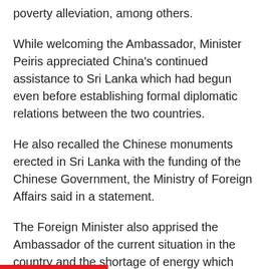poverty alleviation, among others.
While welcoming the Ambassador, Minister Peiris appreciated China's continued assistance to Sri Lanka which had begun even before establishing formal diplomatic relations between the two countries.
He also recalled the Chinese monuments erected in Sri Lanka with the funding of the Chinese Government, the Ministry of Foreign Affairs said in a statement.
The Foreign Minister also apprised the Ambassador of the current situation in the country and the shortage of energy which has adversely affected the economy of Sri Lanka.
He briefed the Ambassador on the measures which are being put in place by the Government to immediately